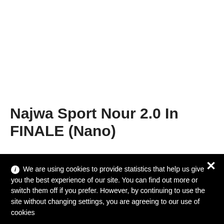Najwa Sport Nour 2.0 In FINALE (Nano)
$...
ⓘ We are using cookies to provide statistics that help us give you the best experience of our site. You can find out more or switch them off if you prefer. However, by continuing to use the site without changing settings, you are agreeing to our use of cookies
MORE INFO  ACCEPT
1  -  SOLD OUT